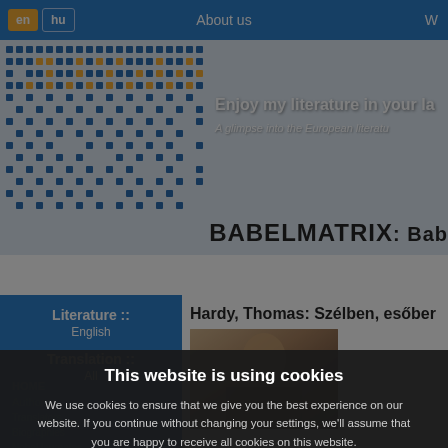en  hu    About us    W
[Figure (screenshot): Babelmatrix website banner with dot-matrix logo on left, text 'Enjoy my literature in your la' and 'A glimpse into the European literatu' on right, on light blue background]
BABELMATRIX: Bab
Literature :: English
Translation :: All
Hardy, Thomas: Szélben, esőber
[Figure (photo): Sepia portrait photo of Thomas Hardy]
This website is using cookies
We use cookies to ensure that we give you the best experience on our website. If you continue without changing your settings, we'll assume that you are happy to receive all cookies on this website.
Agree    Read more